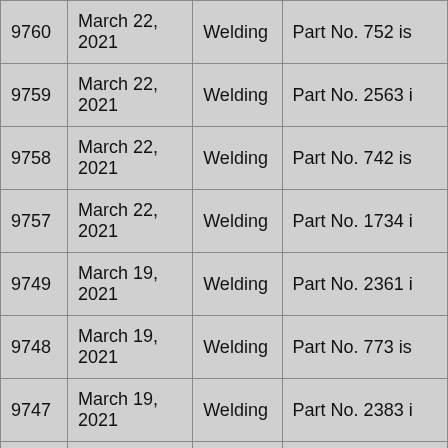| ID | Date | Type | Description |
| --- | --- | --- | --- |
| 9760 | March 22, 2021 | Welding | Part No. 752 is |
| 9759 | March 22, 2021 | Welding | Part No. 2563 i |
| 9758 | March 22, 2021 | Welding | Part No. 742 is |
| 9757 | March 22, 2021 | Welding | Part No. 1734 i |
| 9749 | March 19, 2021 | Welding | Part No. 2361 i |
| 9748 | March 19, 2021 | Welding | Part No. 773 is |
| 9747 | March 19, 2021 | Welding | Part No. 2383 i |
| 9746 | March 19, 2021 | Welding | Part No. 2346 i |
| 9745 | March 19, 2021 | Welding | Part No. 747 is |